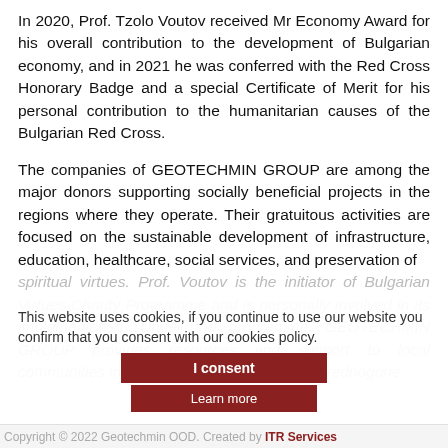In 2020, Prof. Tzolo Voutov received Mr Economy Award for his overall contribution to the development of Bulgarian economy, and in 2021 he was conferred with the Red Cross Honorary Badge and a special Certificate of Merit for his personal contribution to the humanitarian causes of the Bulgarian Red Cross.
The companies of GEOTECHMIN GROUP are among the major donors supporting socially beneficial projects in the regions where they operate. Their gratuitous activities are focused on the sustainable development of infrastructure, education, healthcare, social services, and preservation of spiritual virtues. Prof. Voutov is the initiator of Bulgarian Virtues Charity Programme and is personally involved in its implementation. Under the programme, GEOTECHMIN GROUP provides resources and support to local communities in the regions of Etropole and Srednogorie.
This website uses cookies, if you continue to use our website you confirm that you consent with our cookies policy.
I consent
Learn more
Copyright © 2022 Geotechmin OOD. Created by ITR Services